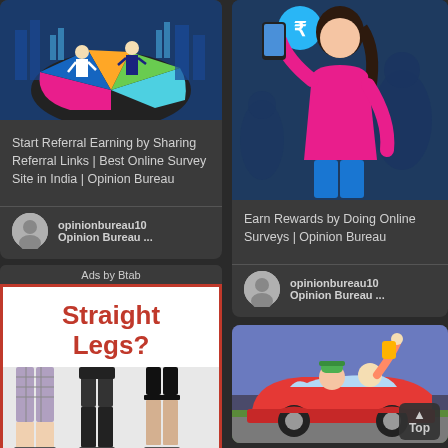[Figure (screenshot): Blog/listing card with illustration of people on a colorful pie chart - business themed graphic]
Start Referral Earning by Sharing Referral Links | Best Online Survey Site in India | Opinion Bureau
opinionbureau10
Opinion Bureau ...
Ads by Btab
[Figure (illustration): Ad image with red text 'Straight Legs?' and photos of women's legs in shorts/skirts]
[Figure (illustration): Woman in pink top holding a phone with Indian rupee symbol - earn rewards illustration]
Earn Rewards by Doing Online Surveys | Opinion Bureau
opinionbureau10
Opinion Bureau ...
[Figure (illustration): Cartoon people in a red convertible car with hand raised - cheerful road trip illustration]
Top